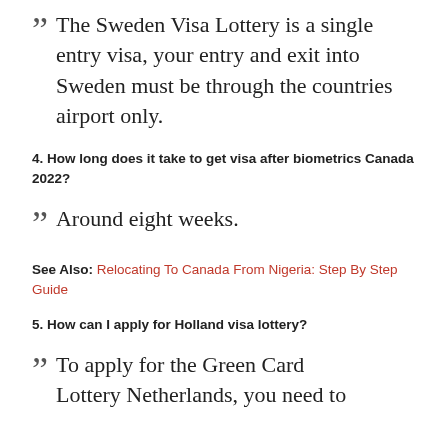The Sweden Visa Lottery is a single entry visa, your entry and exit into Sweden must be through the countries airport only.
4. How long does it take to get visa after biometrics Canada 2022?
Around eight weeks.
See Also: Relocating To Canada From Nigeria: Step By Step Guide
5. How can I apply for Holland visa lottery?
To apply for the Green Card Lottery Netherlands, you need to